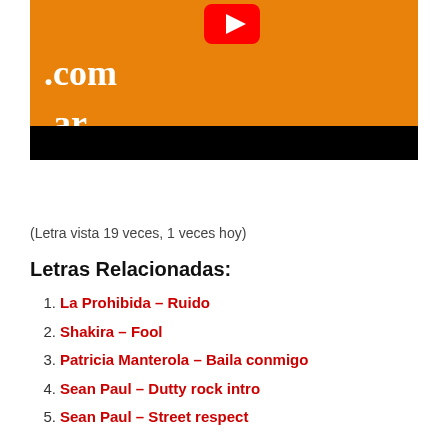[Figure (screenshot): YouTube video player thumbnail with orange background showing YouTube play button icon and partial text '.com' and '.ar' in white serif font, with a black bar at the bottom]
(Letra vista 19 veces, 1 veces hoy)
Letras Relacionadas:
La Prohibida – Ruido
Shakira – Fool
Patricia Manterola – Baila conmigo
Sean Paul – Dutty rock intro
Sean Paul – Street respect